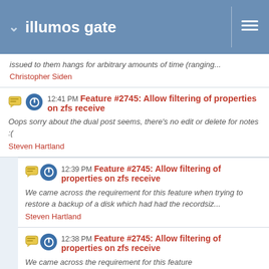illumos gate
issued to them hangs for arbitrary amounts of time (ranging...
Christopher Siden
12:41 PM Feature #2745: Allow filtering of properties on zfs receive
Oops sorry about the dual post seems, there's no edit or delete for notes :(
Steven Hartland
12:39 PM Feature #2745: Allow filtering of properties on zfs receive
We came across the requirement for this feature when trying to restore a backup of a disk which had had the recordsiz...
Steven Hartland
12:38 PM Feature #2745: Allow filtering of properties on zfs receive
We came across the requirement for this feature